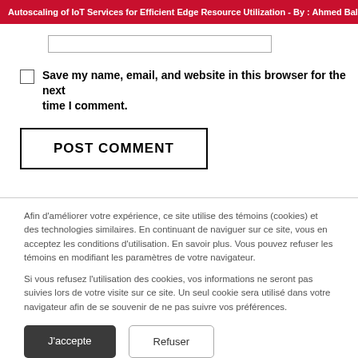Autoscaling of IoT Services for Efficient Edge Resource Utilization - By : Ahmed Bali, Mahm
Save my name, email, and website in this browser for the next time I comment.
POST COMMENT
Afin d’améliorer votre expérience, ce site utilise des témoins (cookies) et des technologies similaires. En continuant de naviguer sur ce site, vous en acceptez les conditions d’utilisation. En savoir plus. Vous pouvez refuser les témoins en modifiant les paramètres de votre navigateur.
Si vous refusez l’utilisation des cookies, vos informations ne seront pas suivies lors de votre visite sur ce site. Un seul cookie sera utilisé dans votre navigateur afin de se souvenir de ne pas suivre vos préférences.
J’accepte
Refuser